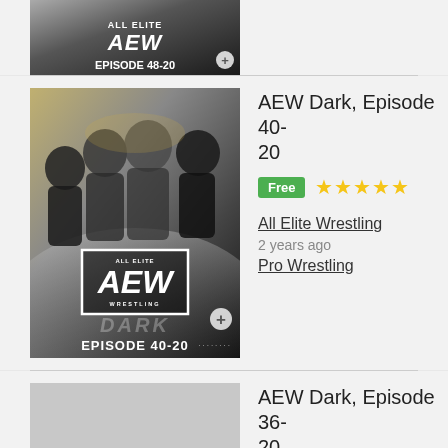[Figure (screenshot): Partial thumbnail of AEW Dark Episode 48-20 with plus button]
[Figure (screenshot): AEW Dark Episode 40-20 thumbnail showing wrestlers and AEW logo]
AEW Dark, Episode 40-20
Free ★★★★★
All Elite Wrestling
2 years ago
Pro Wrestling
[Figure (screenshot): Partial thumbnail of AEW Dark Episode 36-20]
AEW Dark, Episode 36-20
Free ★★★★★